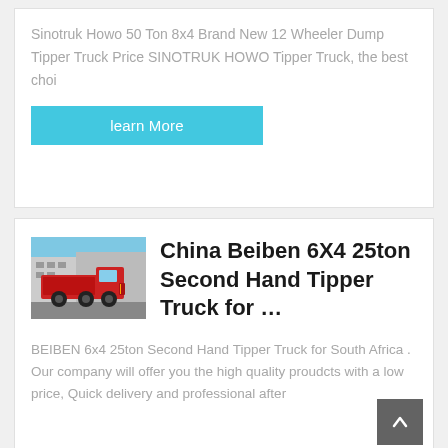Sinotruk Howo 50 Ton 8x4 Brand New 12 Wheeler Dump Tipper Truck Price SINOTRUK HOWO Tipper Truck, the best choi
learn More
[Figure (photo): Red Beiben dump tipper truck parked outside a building against a blue sky]
China Beiben 6X4 25ton Second Hand Tipper Truck for …
BEIBEN 6x4 25ton Second Hand Tipper Truck for South Africa . Our company will offer you the high quality proudcts with a low price, Quick delivery and professional after